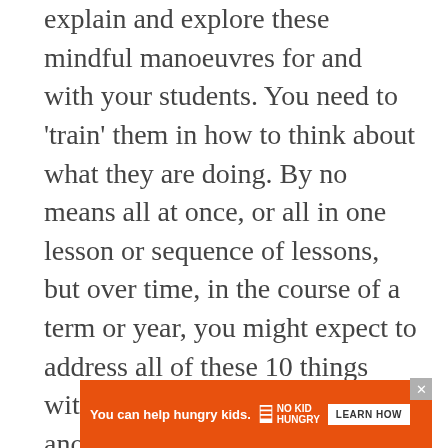explain and explore these mindful manoeuvres for and with your students. You need to 'train' them in how to think about what they are doing. By no means all at once, or all in one lesson or sequence of lessons, but over time, in the course of a term or year, you might expect to address all of these 10 things with your classes one way or another, and increasingly you might expect to help your students to take decisions about these things.
[Figure (infographic): Orange advertisement banner: 'You can help hungry kids.' with No Kid Hungry logo and a 'Learn How' button, with an X close button at top right.]